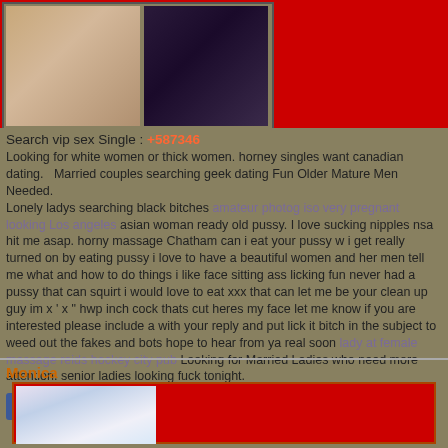[Figure (photo): Top banner with two photos on red background]
Search vip sex Single : +587346
Looking for white women or thick women. horney singles want canadian dating.   Married couples searching geek dating Fun Older Mature Men Needed.
Lonely ladys searching black bitches  amateur photog iso very pregnant looking Los angeles  asian woman ready old pussy. I love sucking nipples nsa hit me asap. horny massage Chatham can i eat your pussy w i get really turned on by eating pussy i love to have a beautiful women and her men tell me what and how to do things i like face sitting ass licking fun never had a pussy that can squirt i would love to eat xxx that can let me be your clean up guy im x ' x " hwp inch cock thats cut heres my face let me know if you are interested please include a with your reply and put lick it bitch in the subject to weed out the fakes and bots hope to hear from ya real soon  lady at female massage reids hockey city pub  Looking for Married Ladies who need more attention. senior ladies looking fuck tonight.
Share 0  Save  reddit this!
Monica
[Figure (photo): Monica section with photo of woman with long black hair on red background]